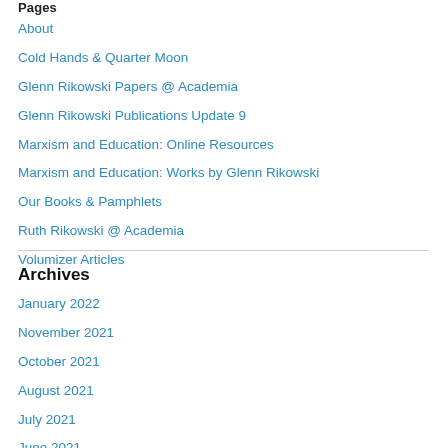Pages
About
Cold Hands & Quarter Moon
Glenn Rikowski Papers @ Academia
Glenn Rikowski Publications Update 9
Marxism and Education: Online Resources
Marxism and Education: Works by Glenn Rikowski
Our Books & Pamphlets
Ruth Rikowski @ Academia
Volumizer Articles
Archives
January 2022
November 2021
October 2021
August 2021
July 2021
June 2021